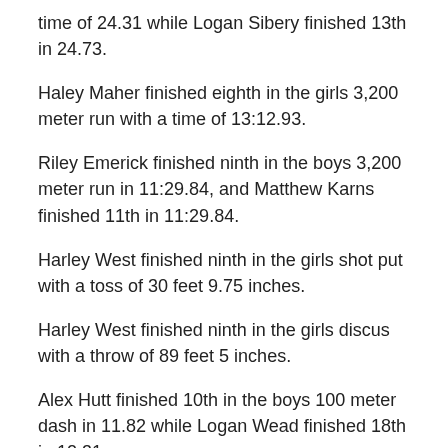time of 24.31 while Logan Sibery finished 13th in 24.73.
Haley Maher finished eighth in the girls 3,200 meter run with a time of 13:12.93.
Riley Emerick finished ninth in the boys 3,200 meter run in 11:29.84, and Matthew Karns finished 11th in 11:29.84.
Harley West finished ninth in the girls shot put with a toss of 30 feet 9.75 inches.
Harley West finished ninth in the girls discus with a throw of 89 feet 5 inches.
Alex Hutt finished 10th in the boys 100 meter dash in 11.82 while Logan Wead finished 18th in 12.31.